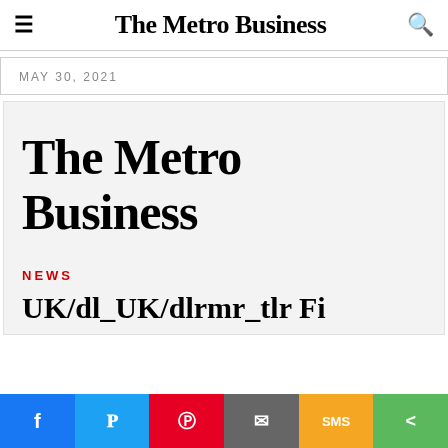The Metro Business
MAY 30, 2021
[Figure (logo): The Metro Business logo on light grey background]
NEWS
UK/d... (partial article headline cut off at bottom)